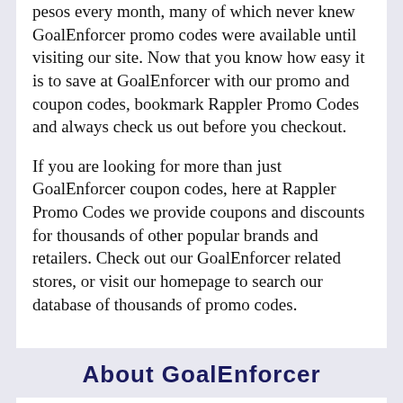pesos every month, many of which never knew GoalEnforcer promo codes were available until visiting our site. Now that you know how easy it is to save at GoalEnforcer with our promo and coupon codes, bookmark Rappler Promo Codes and always check us out before you checkout.
If you are looking for more than just GoalEnforcer coupon codes, here at Rappler Promo Codes we provide coupons and discounts for thousands of other popular brands and retailers. Check out our GoalEnforcer related stores, or visit our homepage to search our database of thousands of promo codes.
About GoalEnforcer
GoalEnforcer is a Visual Goal Setting and Project Management Software. It visualizes goal planning that can help you plan, get focused, and accomplish goals much faster than any other method.